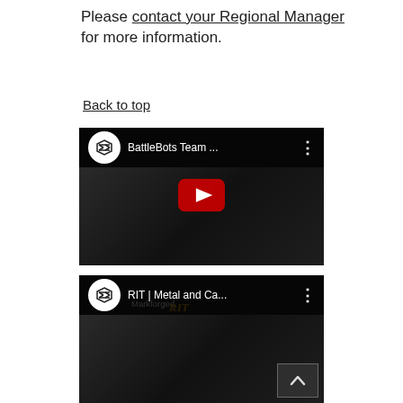Please contact your Regional Manager for more information.
Back to top
[Figure (screenshot): YouTube video thumbnail for 'BattleBots Team ...' with YouTube channel logo, play button, and dark background]
[Figure (screenshot): YouTube video thumbnail for 'RIT | Metal and Ca...' with Markforged branding, RIT logo text, and back-to-top arrow button]